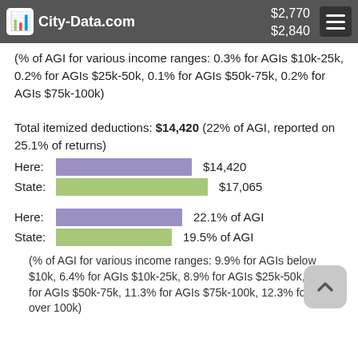City-Data.com  $2,770  $2,840
(% of AGI for various income ranges: 0.3% for AGIs $10k-25k, 0.2% for AGIs $25k-50k, 0.1% for AGIs $50k-75k, 0.2% for AGIs $75k-100k)
Total itemized deductions: $14,420 (22% of AGI, reported on 25.1% of returns)
[Figure (bar-chart): Total itemized deductions]
[Figure (bar-chart): AGI percentages]
(% of AGI for various income ranges: 9.9% for AGIs below $10k, 6.4% for AGIs $10k-25k, 8.9% for AGIs $25k-50k, 10.8% for AGIs $50k-75k, 11.3% for AGIs $75k-100k, 12.3% for AGIs over 100k)